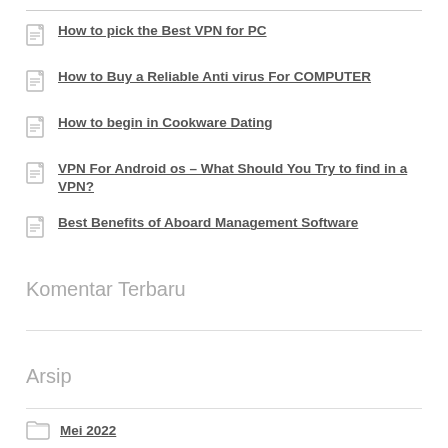How to pick the Best VPN for PC
How to Buy a Reliable Anti virus For COMPUTER
How to begin in Cookware Dating
VPN For Android os – What Should You Try to find in a VPN?
Best Benefits of Aboard Management Software
Komentar Terbaru
Arsip
Mei 2022